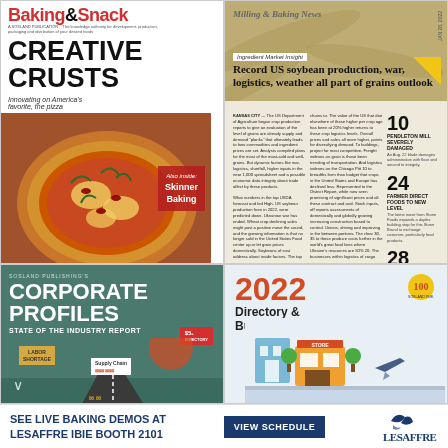[Figure (illustration): Baking & Snack magazine cover featuring large red logo, 'CREATIVE CRUSTS' headline, pizza photo, and 'Also inside: Skinner Baking' callout]
[Figure (illustration): Milling & Baking News magazine page with 'Ingredient Market Insight' label, headline 'Record US soybean production, war, logistics, weather all part of grains outlook', body text columns, and sidebar with numbers 10, 24, 28]
[Figure (illustration): Sosland Publishing's Corporate Profiles State of the Industry Report cover with teal background, road infographic, 'Labor Shortage' and 'Supply Chain' signs]
[Figure (illustration): 2022 Directory & Buyers Guide cover with orange '2022' headline, directory title, 100th anniversary badge, and illustrated storefront scene]
SEE LIVE BAKING DEMOS AT LESAFFRE IBIE BOOTH 2101
VIEW SCHEDULE
[Figure (logo): LESAFFRE logo in navy blue with stylized bird mark]